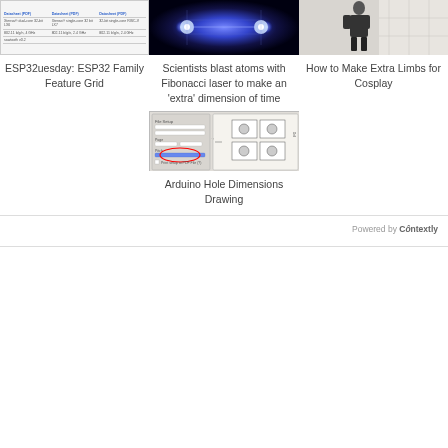[Figure (screenshot): Thumbnail of ESP32 Family Feature Grid table showing chip comparison]
ESP32uesday: ESP32 Family Feature Grid
[Figure (photo): Scientists blast atoms with Fibonacci laser - glowing blue energy burst on dark background]
Scientists blast atoms with Fibonacci laser to make an 'extra' dimension of time
[Figure (photo): How to Make Extra Limbs for Cosplay - person with guitar]
How to Make Extra Limbs for Cosplay
[Figure (screenshot): Arduino Hole Dimensions Drawing - CAD/drawing tool screenshot with red circle annotation]
Arduino Hole Dimensions Drawing
Powered by Contextly